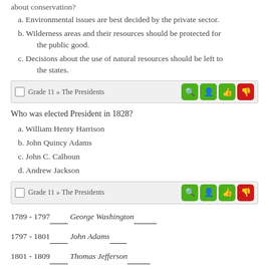about conservation?
a. Environmental issues are best decided by the private sector.
b. Wilderness areas and their resources should be protected for the public good.
c. Decisions about the use of natural resources should be left to the states.
Grade 11 » The Presidents
Who was elected President in 1828?
a. William Henry Harrison
b. John Quincy Adams
c. John C. Calhoun
d. Andrew Jackson
Grade 11 » The Presidents
1789 - 1797  George Washington
1797 - 1801  John Adams
1801 - 1809  Thomas Jefferson
1809 - 1817  James Madison